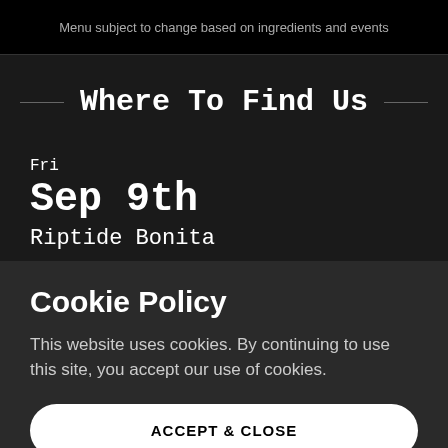Menu subject to change based on ingredients and events
Where To Find Us
Fri
Sep 9th
Riptide Bonita
Cookie Policy
This website uses cookies. By continuing to use this site, you accept our use of cookies.
ACCEPT & CLOSE